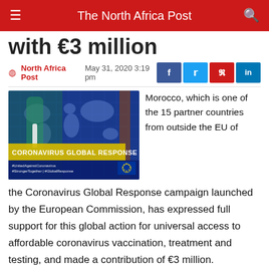The North Africa Post
with €3 million
North Africa Post   May 31, 2020 3:19 pm
[Figure (photo): Coronavirus Global Response campaign image showing a gloved hand holding a vaccine vial in front of a world map on a blue grid background, with text 'CORONAVIRUS GLOBAL RESPONSE' and '#UnitedAgainstCoronavirus #StrongerTogether | #GlobalResponse' and EU flag logo.]
Morocco, which is one of the 15 partner countries from outside the EU of the Coronavirus Global Response campaign launched by the European Commission, has expressed full support for this global action for universal access to affordable coronavirus vaccination, treatment and testing, and made a contribution of €3 million.